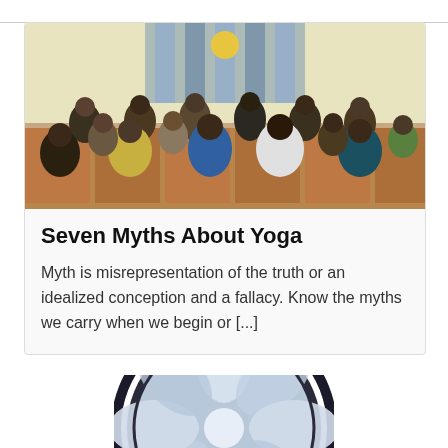[Figure (photo): Group of people sitting cross-legged on mats in a large hall practicing yoga or meditation, arranged in rows.]
Seven Myths About Yoga
Myth is misrepresentation of the truth or an idealized conception and a fallacy. Know the myths we carry when we begin or [...]
[Figure (illustration): Circular mandala or lotus symbol with geometric petal pattern in light blue and white tones with dark border, partially visible at bottom of page.]